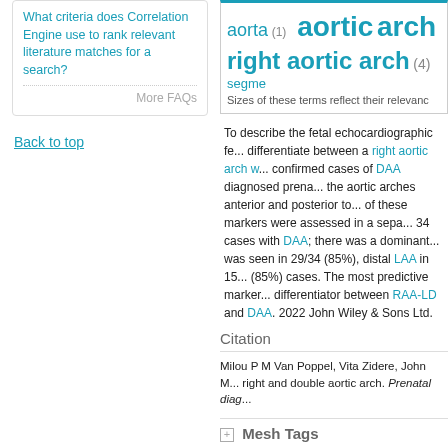What criteria does Correlation Engine use to rank relevant literature matches for a search?
More FAQs
Back to top
[Figure (other): Tag cloud showing terms: aorta (1), aortic, arch, right aortic arch (4), segme... with sizes reflecting relevance]
Sizes of these terms reflect their relevance
To describe the fetal echocardiographic fe... differentiate between a right aortic arch w... confirmed cases of DAA diagnosed prena... the aortic arches anterior and posterior to... of these markers were assessed in a sepa... 34 cases with DAA; there was a dominant... was seen in 29/34 (85%), distal LAA in 15... (85%) cases. The most predictive marker... differentiator between RAA-LD and DAA. 2022 John Wiley & Sons Ltd.
Citation
Milou P M Van Poppel, Vita Zidere, John ... right and double aortic arch. Prenatal diag...
Mesh Tags
Substances